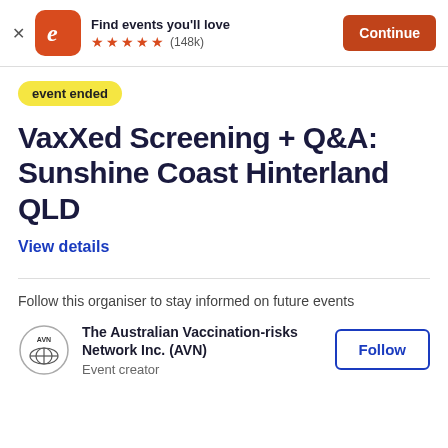[Figure (screenshot): Eventbrite app banner with logo, star rating (148k), and Continue button]
event ended
VaxXed Screening + Q&A: Sunshine Coast Hinterland QLD
View details
Follow this organiser to stay informed on future events
[Figure (logo): The Australian Vaccination-risks Network Inc. (AVN) logo]
The Australian Vaccination-risks Network Inc. (AVN)
Event creator